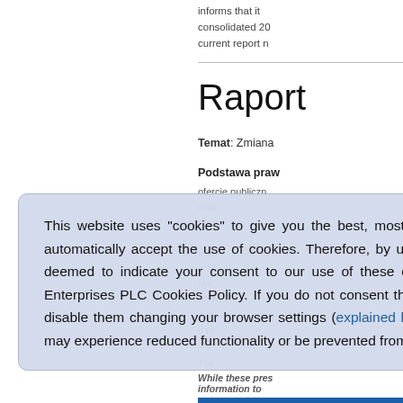informs that it consolidated 20 current report n
Raport
Temat: Zmiana
Podstawa praw
ofercie publiczn owa nfor ie § a 20 nyc ASB / pu 8 ro 1/2
This website uses "cookies" to give you the best, most relevant experience. Most computers have their browsers set to automatically accept the use of cookies. Therefore, by using this website and not changing your browser settings, you are deemed to indicate your consent to our use of these cookies and other technologies and accept the terms of ASBISC Enterprises PLC Cookies Policy. If you do not consent the use of cookies on this website, please either be sure to block or disable them changing your browser settings (explained here) or stop using the website. If you decide to block cookies, you may experience reduced functionality or be prevented from using the website completely.
The
While these pres information to